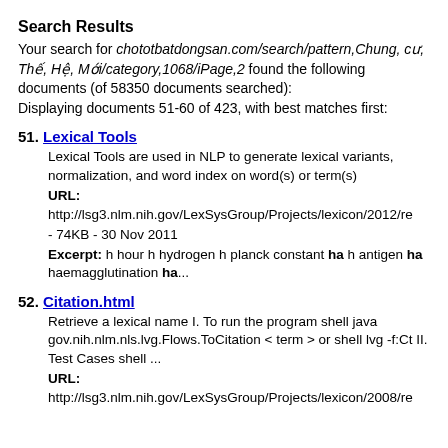Search Results
Your search for chototbatdongsan.com/search/pattern,Chung, cư, Thế, Hệ, Mới/category,1068/iPage,2 found the following documents (of 58350 documents searched):
Displaying documents 51-60 of 423, with best matches first:
51. Lexical Tools
Lexical Tools are used in NLP to generate lexical variants, normalization, and word index on word(s) or term(s)
URL: http://lsg3.nlm.nih.gov/LexSysGroup/Projects/lexicon/2012/re - 74KB - 30 Nov 2011
Excerpt: h hour h hydrogen h planck constant ha h antigen ha haemagglutination ha...
52. Citation.html
Retrieve a lexical name I. To run the program shell java gov.nih.nlm.nls.lvg.Flows.ToCitation < term > or shell lvg -f:Ct II. Test Cases shell ...
URL: http://lsg3.nlm.nih.gov/LexSysGroup/Projects/lexicon/2008/re